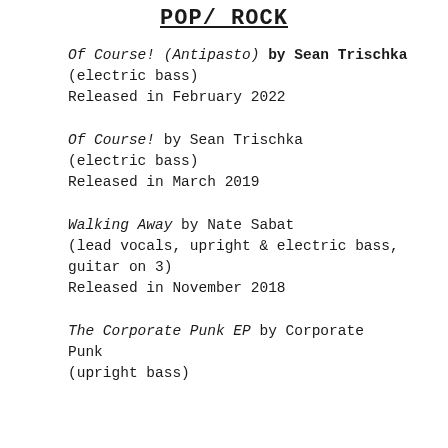Pop/ Rock
Of Course! (Antipasto) by Sean Trischka
(electric bass)
Released in February 2022
Of Course! by Sean Trischka
(electric bass)
Released in March 2019
Walking Away by Nate Sabat
(lead vocals, upright & electric bass, guitar on 3)
Released in November 2018
The Corporate Punk EP by Corporate Punk
(upright bass)